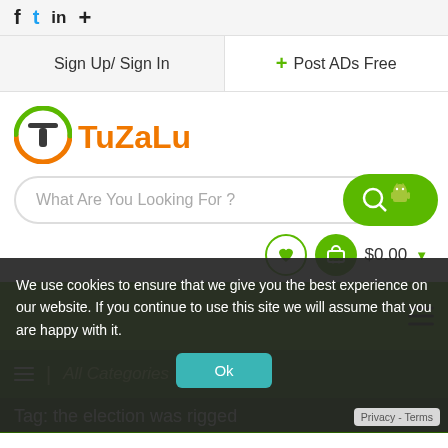f  t  in  +
Sign Up/ Sign In
+ Post ADs Free
[Figure (logo): TuZaLu logo with circular green/orange T icon and orange text 'TuZaLu']
What Are You Looking For ?
$0.00
≡  |  All Categories
Tag: the election was rigged
We use cookies to ensure that we give you the best experience on our website. If you continue to use this site we will assume that you are happy with it.
Ok
Privacy - Terms